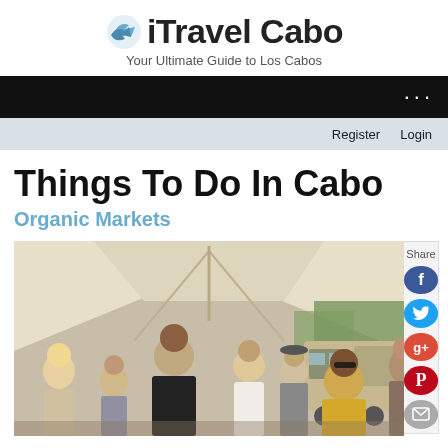[Figure (logo): iTravel Cabo logo with blue arrow icon and tagline 'Your Ultimate Guide to Los Cabos']
···
Register   Login
Things To Do In Cabo
Organic Markets
[Figure (photo): People gathered under a large canvas tent at an outdoor organic market, with a vintage vehicle in the background.]
Share